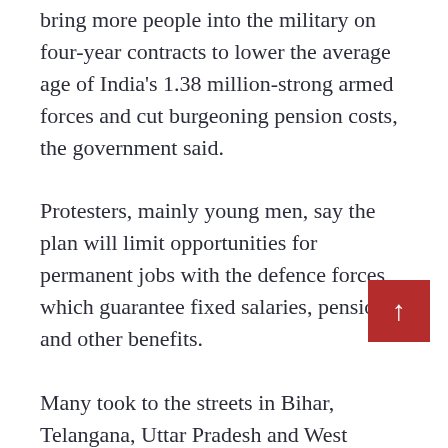bring more people into the military on four-year contracts to lower the average age of India's 1.38 million-strong armed forces and cut burgeoning pension costs, the government said.
Protesters, mainly young men, say the plan will limit opportunities for permanent jobs with the defence forces, which guarantee fixed salaries, pensions and other benefits.
Many took to the streets in Bihar, Telangana, Uttar Pradesh and West Bengal to protest against this plan.
Social media platforms like Facebook, Twitter